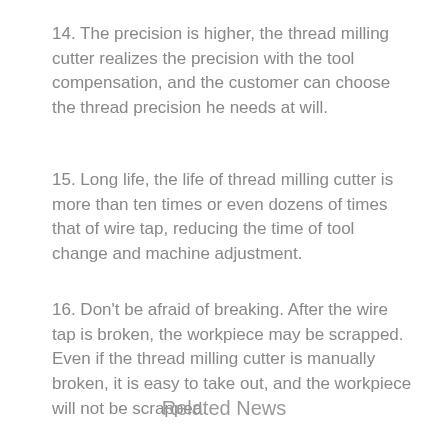14. The precision is higher, the thread milling cutter realizes the precision with the tool compensation, and the customer can choose the thread precision he needs at will.
15. Long life, the life of thread milling cutter is more than ten times or even dozens of times that of wire tap, reducing the time of tool change and machine adjustment.
16. Don't be afraid of breaking. After the wire tap is broken, the workpiece may be scrapped. Even if the thread milling cutter is manually broken, it is easy to take out, and the workpiece will not be scrapped.
Related News